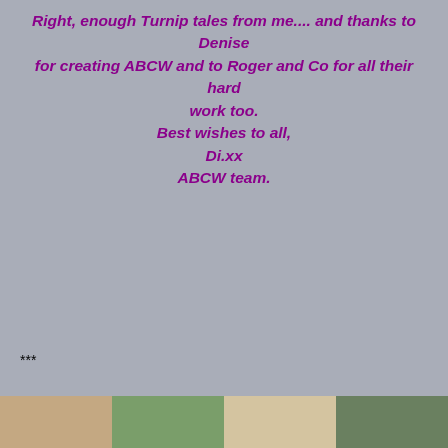Right, enough Turnip tales from me.... and thanks to Denise for creating ABCW and to Roger and Co for all their hard work too.
Best wishes to all,
Di.xx
ABCW team.
***
ABC Wednesday 19G
[Figure (photo): Four partially visible photos in a row at the bottom of the page]